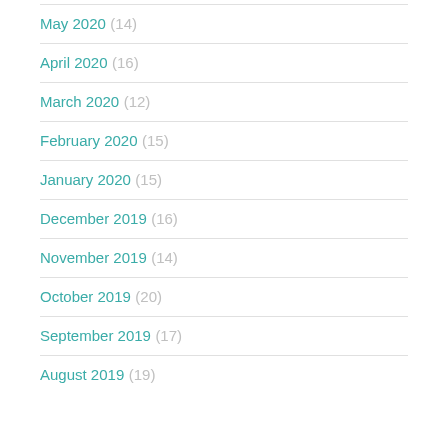May 2020 (14)
April 2020 (16)
March 2020 (12)
February 2020 (15)
January 2020 (15)
December 2019 (16)
November 2019 (14)
October 2019 (20)
September 2019 (17)
August 2019 (19)